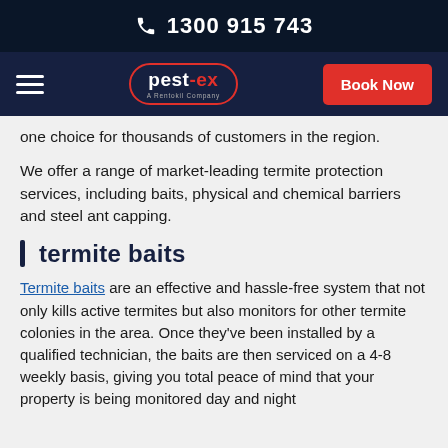1300 915 743
[Figure (logo): Pest-Ex logo with A Rentokil Company tagline and Book Now button navigation bar]
one choice for thousands of customers in the region.
We offer a range of market-leading termite protection services, including baits, physical and chemical barriers and steel ant capping.
termite baits
Termite baits are an effective and hassle-free system that not only kills active termites but also monitors for other termite colonies in the area. Once they've been installed by a qualified technician, the baits are then serviced on a 4-8 weekly basis, giving you total peace of mind that your property is being monitored day and night.